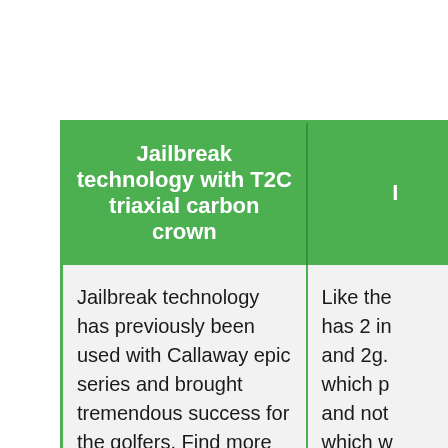| Jailbreak technology with T2C triaxial carbon crown | I[truncated] |
| --- | --- |
| Jailbreak technology has previously been used with Callaway epic series and brought tremendous success for the golfers. Find more about jailbreak technology here. | Like the[truncated]...has 2 in...and 2g....which p...and not...which w...perform... |
| [image: golden sphere/club head diagram] | [image truncated] |